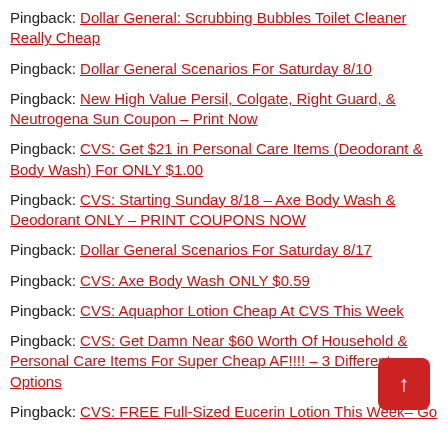Pingback: Dollar General: Scrubbing Bubbles Toilet Cleaner Really Cheap
Pingback: Dollar General Scenarios For Saturday 8/10
Pingback: New High Value Persil, Colgate, Right Guard, & Neutrogena Sun Coupon – Print Now
Pingback: CVS: Get $21 in Personal Care Items (Deodorant & Body Wash) For ONLY $1.00
Pingback: CVS: Starting Sunday 8/18 – Axe Body Wash & Deodorant ONLY – PRINT COUPONS NOW
Pingback: Dollar General Scenarios For Saturday 8/17
Pingback: CVS: Axe Body Wash ONLY $0.59
Pingback: CVS: Aquaphor Lotion Cheap At CVS This Week
Pingback: CVS: Get Damn Near $60 Worth Of Household & Personal Care Items For Super Cheap AF!!!! – 3 Different Options
Pingback: CVS: FREE Full-Sized Eucerin Lotion This Week– Go